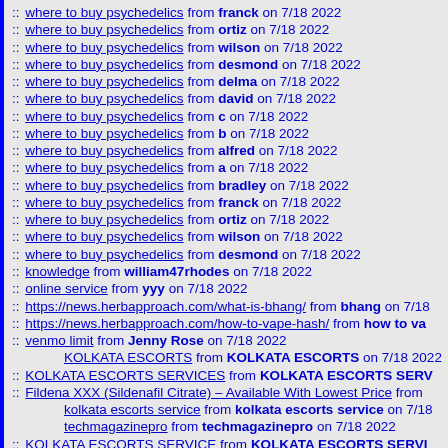:: where to buy psychedelics from franck on 7/18 2022
:: where to buy psychedelics from ortiz on 7/18 2022
:: where to buy psychedelics from wilson on 7/18 2022
:: where to buy psychedelics from desmond on 7/18 2022
:: where to buy psychedelics from delma on 7/18 2022
:: where to buy psychedelics from david on 7/18 2022
:: where to buy psychedelics from c on 7/18 2022
:: where to buy psychedelics from b on 7/18 2022
:: where to buy psychedelics from alfred on 7/18 2022
:: where to buy psychedelics from a on 7/18 2022
:: where to buy psychedelics from bradley on 7/18 2022
:: where to buy psychedelics from franck on 7/18 2022
:: where to buy psychedelics from ortiz on 7/18 2022
:: where to buy psychedelics from wilson on 7/18 2022
:: where to buy psychedelics from desmond on 7/18 2022
:: knowledge from william47rhodes on 7/18 2022
:: online service from yyy on 7/18 2022
:: https://news.herbapproach.com/what-is-bhang/ from bhang on 7/18
:: https://news.herbapproach.com/how-to-vape-hash/ from how to va
:: venmo limit from Jenny Rose on 7/18 2022
KOLKATA ESCORTS from KOLKATA ESCORTS on 7/18 2022
:: KOLKATA ESCORTS SERVICES from KOLKATA ESCORTS SERV
:: Fildena XXX (Sildenafil Citrate) – Available With Lowest Price from
kolkata escorts service from kolkata escorts service on 7/18
techmagazinepro from techmagazinepro on 7/18 2022
:: KOLKATA ESCORTS SERVICE from KOLKATA ESCORTS SERVI
:: JHLJ from govind on 7/18 2022
KOLKATA CALL GIRLS from KOLKATA ESCORTS SERVICE
techmagazinepro from techmagazinepro on 7/18 2022
:: Useful links from Daniel Sam on 7/18 2022